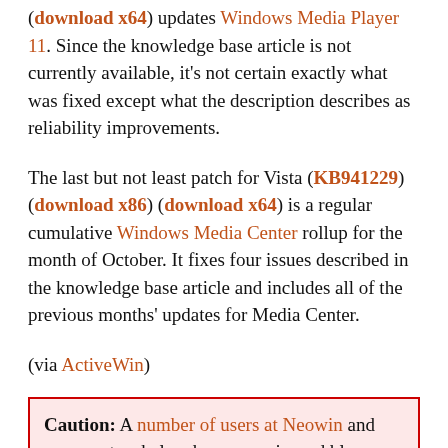(download x64) updates Windows Media Player 11. Since the knowledge base article is not currently available, it's not certain exactly what was fixed except what the description describes as reliability improvements.
The last but not least patch for Vista (KB941229) (download x86) (download x64) is a regular cumulative Windows Media Center rollup for the month of October. It fixes four issues described in the knowledge base article and includes all of the previous months' updates for Media Center.
(via ActiveWin)
Caution: A number of users at Neowin and commenters below have experienced blue-screens at boot after applying this patch. So far, there doesn't